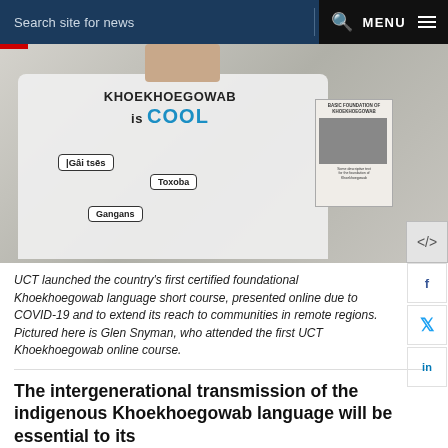Search site for news  MENU
[Figure (photo): Person wearing a white t-shirt printed with 'KHOEKHOEGOWAB is COOL' and speech bubbles with words in Khoekhoegowab language, holding a booklet titled 'BASIC FOUNDATION OF KHOEKHOEGOWAB']
UCT launched the country's first certified foundational Khoekhoegowab language short course, presented online due to COVID-19 and to extend its reach to communities in remote regions. Pictured here is Glen Snyman, who attended the first UCT Khoekhoegowab online course.
The intergenerational transmission of the indigenous Khoekhoegowab language will be essential to its